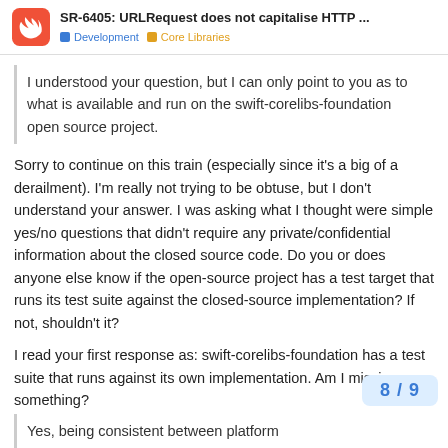SR-6405: URLRequest does not capitalise HTTP ... | Development | Core Libraries
I understood your question, but I can only point to you as to what is available and run on the swift-corelibs-foundation open source project.
Sorry to continue on this train (especially since it's a big of a derailment). I'm really not trying to be obtuse, but I don't understand your answer. I was asking what I thought were simple yes/no questions that didn't require any private/confidential information about the closed source code. Do you or does anyone else know if the open-source project has a test target that runs its test suite against the closed-source implementation? If not, shouldn't it?
I read your first response as: swift-corelibs-foundation has a test suite that runs against its own implementation. Am I missing something?
Yes, being consistent between platform